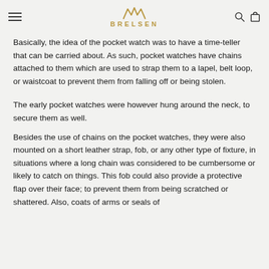BRELSEN
Basically, the idea of the pocket watch was to have a time-teller that can be carried about. As such, pocket watches have chains attached to them which are used to strap them to a lapel, belt loop, or waistcoat to prevent them from falling off or being stolen.
The early pocket watches were however hung around the neck, to secure them as well.
Besides the use of chains on the pocket watches, they were also mounted on a short leather strap, fob, or any other type of fixture, in situations where a long chain was considered to be cumbersome or likely to catch on things. This fob could also provide a protective flap over their face; to prevent them from being scratched or shattered. Also, coats of arms or seals of